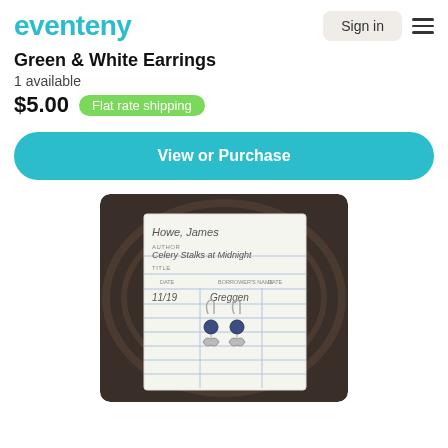eventeny | Sign in
Green & White Earrings
1 available
$5.00  Flat rate shipping
View or Purchase
[Figure (photo): A photo of a pair of green and white earrings with butterfly-shaped silver charms and dark blue/green beads, placed on a library card on a wooden surface. The library card shows handwriting: 'Howe, James', 'AUTHOR: Celery Stalks at Midnight', 'TITLE', with date '11/19' and borrower name 'Greggen'.]